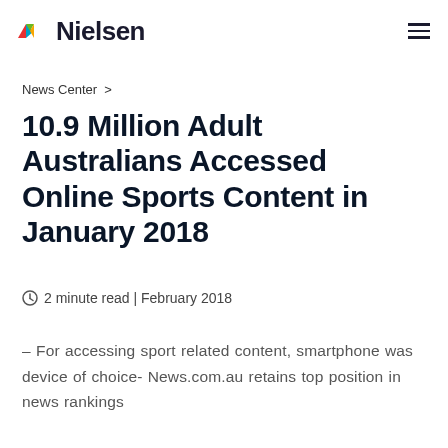Nielsen
News Center >
10.9 Million Adult Australians Accessed Online Sports Content in January 2018
2 minute read | February 2018
– For accessing sport related content, smartphone was device of choice- News.com.au retains top position in news rankings